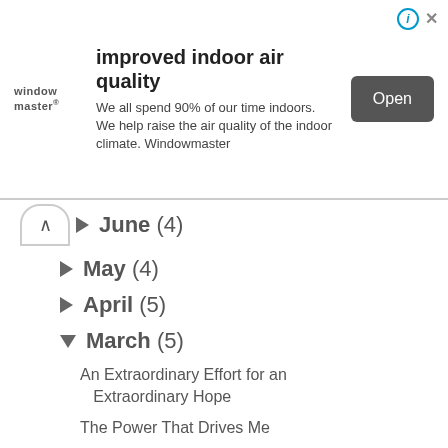[Figure (screenshot): Advertisement banner for WindowMaster showing 'improved indoor air quality' with logo, description text, and Open button]
June (4)
May (4)
April (5)
March (5)
An Extraordinary Effort for an Extraordinary Hope
The Power That Drives Me
The Knowledge of Counting Is Wisdom
The Secret in Fighting Depression
If I Were The President